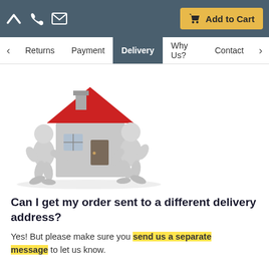Add to Cart
Returns | Payment | Delivery | Why Us? | Contact
[Figure (illustration): Two 3D cartoon figures carrying a house with a red roof]
Can I get my order sent to a different delivery address?
Yes! But please make sure you send us a separate message to let us know.